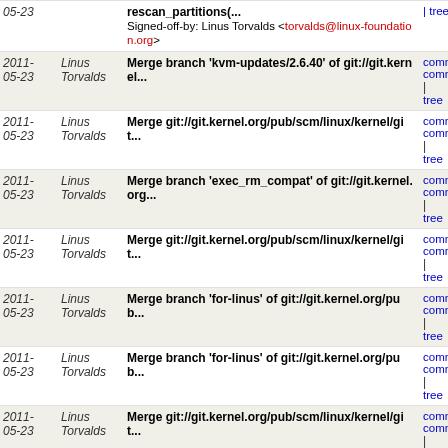| Date | Author | Commit message | Links |
| --- | --- | --- | --- |
| 2011-
05-23 | Linus
Torvalds | rescan_partitions(..)
Signed-off-by: Linus Torvalds <torvalds@linux-foundation.org> | commit
commit
| tree |
| 2011-
05-23 | Linus
Torvalds | Merge branch 'kvm-updates/2.6.40' of git://git.kernel... | commit
commit
| tree |
| 2011-
05-23 | Linus
Torvalds | Merge git://git.kernel.org/pub/scm/linux/kernel/git... | commit
commit
| tree |
| 2011-
05-23 | Linus
Torvalds | Merge branch 'exec_rm_compat' of git://git.kernel.org... | commit
commit
| tree |
| 2011-
05-23 | Linus
Torvalds | Merge git://git.kernel.org/pub/scm/linux/kernel/git... | commit
commit
| tree |
| 2011-
05-23 | Linus
Torvalds | Merge branch 'for-linus' of git://git.kernel.org/pub... | commit
commit
| tree |
| 2011-
05-23 | Linus
Torvalds | Merge branch 'for-linus' of git://git.kernel.org/pub... | commit
commit
| tree |
| 2011-
05-23 | Linus
Torvalds | Merge git://git.kernel.org/pub/scm/linux/kernel/git... | commit
commit
| tree |
| 2011-
05-23 | Linus
Torvalds | Merge git://git.kernel.org/pub/scm/linux/kernel/git... | commit
commit
| tree |
| 2011-
05-23 | Linus
Torvalds | Merge branch 'for-linus' of git://neil.brown.name/md | commit
commit
| tree |
| 2011-
05-23 | Randy
Dunlap | wireless: fix fatal kernel-doc error + warning in mac80211.h
Signed-off-by: Linus Torvalds <torvalds@linux-foundation.org> | commit
commit
| tree |
| 2011-
05-23 | Linus
Torvalds | x86: setup_smep needs to be __cpuinit
Signed-off-by: Linus Torvalds <torvalds@linux-foundation.org> | commit
commit |